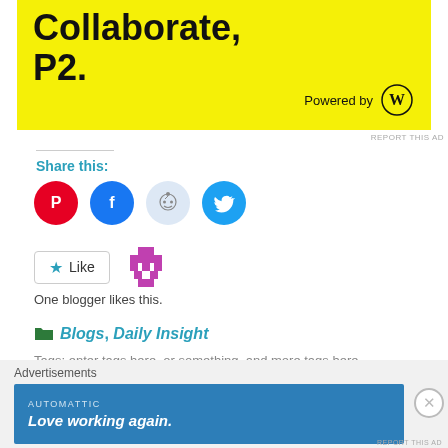[Figure (screenshot): Yellow advertisement banner with bold black text 'Collaborate, P2.' and 'Powered by' WordPress logo]
REPORT THIS AD
Share this:
[Figure (infographic): Four circular social media share buttons: Pinterest (red), Facebook (blue), Reddit (light blue), Twitter (cyan)]
[Figure (infographic): Like button with star icon and a blogger avatar icon next to it]
One blogger likes this.
Blogs, Daily Insight
[Figure (screenshot): Bottom advertisement bar with Automattic branding and text 'Love working again.' on blue background]